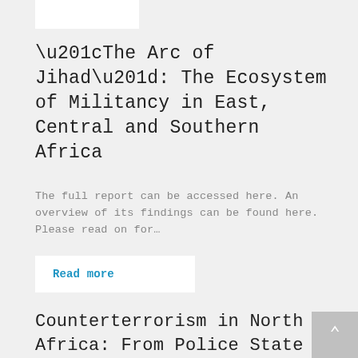“The Arc of Jihad”: The Ecosystem of Militancy in East, Central and Southern Africa
The full report can be accessed here. An overview of its findings can be found here. Please read on for…
Read more
Counterterrorism in North Africa: From Police State to Militia Rule and the Quagmire of “CVE”